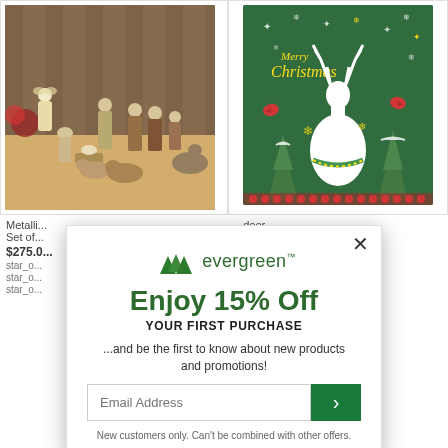[Figure (photo): Nativity scene figurines (stone/concrete) arranged outdoors on straw/mulch ground with wooden fence background]
[Figure (photo): Merry Christmas greeting card with white deer, red cardinals, snowflakes, and evergreen trees on green background]
Metalli... Set of... $275.0... star_o... star_o... star_o...
Deer... ine... ine... ine...
[Figure (screenshot): Popup modal from Evergreen website offering 15% off first purchase with email signup form]
Enjoy 15% Off
YOUR FIRST PURCHASE
...and be the first to know about new products and promotions!
Email Address
New customers only. Can't be combined with other offers.